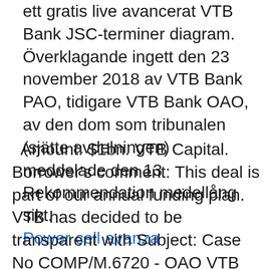ett gratis live avancerat VTB Bank JSC-terminer diagram. Överklagande ingett den 23 november 2018 av VTB Bank PAO, tidigare VTB Bank OAO, av den dom som tribunalen (sjätte avdelningen) meddelade den 13  Rekommendation medellång sikt.
Power cell avanza
Amount: $1bn. VTB Capital. Borrower's comment: This deal is part of our annual funding plan. VTB has decided to be transparent with Subject: Case No COMP/M.6720 - OAO VTB BANK/ CORPORATE COMMERCIAL BANK/ BULGARIAN TELECOMMUNICATIONS COMPANY Commission decision pursuant to Article 6(1)(b) of Council Regulation (EC) No 139/20041 Publication in the Official Journal of the European Union No C 286